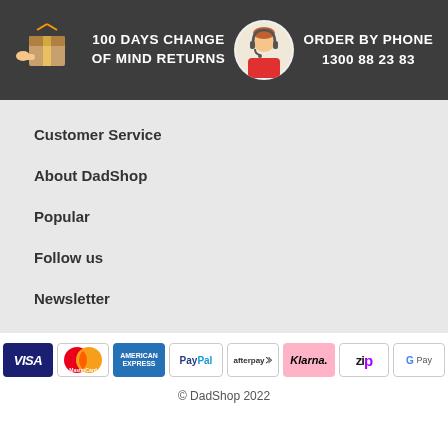[Figure (infographic): Dark header bar with delivery box icon, '100 DAYS CHANGE OF MIND RETURNS' text, customer service avatar, 'ORDER BY PHONE' text and phone number 1300 88 23 83]
Customer Service
About DadShop
Popular
Follow us
Newsletter
[Figure (infographic): Payment method logos: Visa, MasterCard, American Express, PayPal, Afterpay, Klarna, Zip, Google Pay]
© DadShop 2022